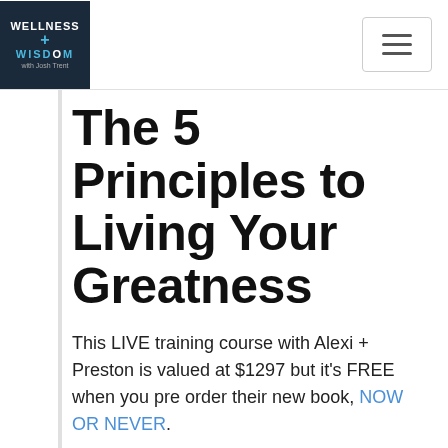Wellness + Wisdom [logo] [hamburger menu]
The 5 Principles to Living Your Greatness
This LIVE training course with Alexi + Preston is valued at $1297 but it's FREE when you pre order their new book, NOW OR NEVER.
ELEVATE YOUR LIFE by elevating your mindset, confidence and ability to tackle problems and take life on with undeniable certainty and authentic power.
You'll learn the principles to tap into your gifts and unlimited power source so that you